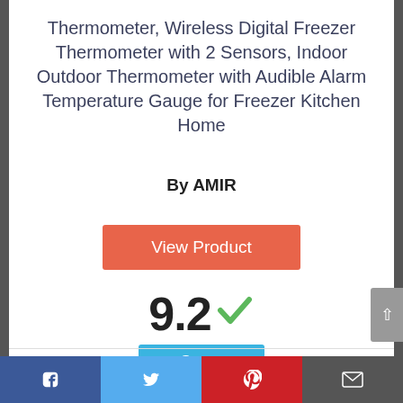Thermometer, Wireless Digital Freezer Thermometer with 2 Sensors, Indoor Outdoor Thermometer with Audible Alarm Temperature Gauge for Freezer Kitchen Home
By AMIR
View Product
9.2
Score
Facebook | Twitter | Pinterest | Email